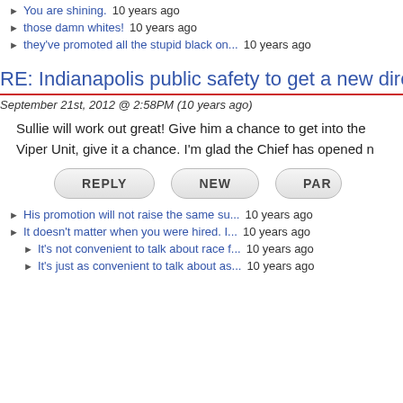You are shining.  10 years ago
those damn whites!  10 years ago
they've promoted all the stupid black on...  10 years ago
RE: Indianapolis public safety to get a new dire
September 21st, 2012 @ 2:58PM (10 years ago)
Sullie will work out great! Give him a chance to get into the Viper Unit, give it a chance. I'm glad the Chief has opened n
REPLY   NEW   PAR
His promotion will not raise the same su...  10 years ago
It doesn't matter when you were hired. I...  10 years ago
It's not convenient to talk about race f...  10 years ago
It's just as convenient to talk about as...  10 years ago